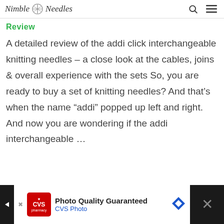Nimble Needles
Review
A detailed review of the addi click interchangeable knitting needles – a close look at the cables, joins & overall experience with the sets So, you are ready to buy a set of knitting needles? And that's when the name “addi” popped up left and right. And now you are wondering if the addi interchangeable …
[Figure (screenshot): Advertisement banner for CVS Photo with text 'Photo Quality Guaranteed' and CVS Photo logo]